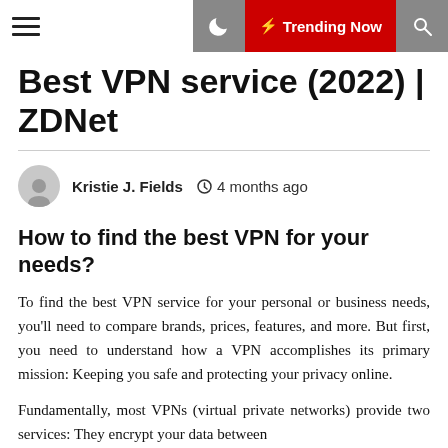Best VPN service (2022) | ZDNet — navigation bar with hamburger menu, moon icon, Trending Now button, search icon
Best VPN service (2022) | ZDNet
Kristie J. Fields  ⊙ 4 months ago
How to find the best VPN for your needs?
To find the best VPN service for your personal or business needs, you'll need to compare brands, prices, features, and more. But first, you need to understand how a VPN accomplishes its primary mission: Keeping you safe and protecting your privacy online.
Fundamentally, most VPNs (virtual private networks) provide two services: They encrypt your data between